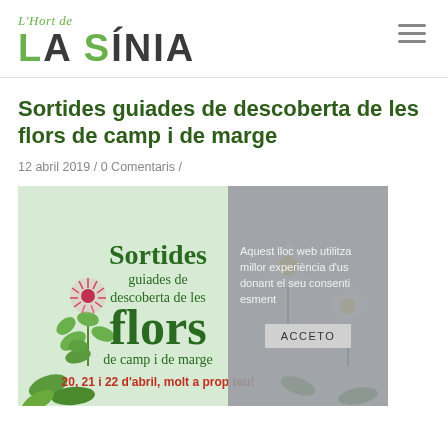L'Hort de La Sínia
Sortides guiades de descoberta de les flors de camp i de marge
12 abril 2019 / 0 Comentaris /
[Figure (illustration): Promotional image for guided wildflower walks showing flowers (red clover, daisies) with text: Sortides guiades de descoberta de les flors de camp i de marge. 20, 21 i 22 d'abril, molt a prop teu!]
Aquest lloc web utilitza millor experiència d'us donant el seu consenti esment ACCETO